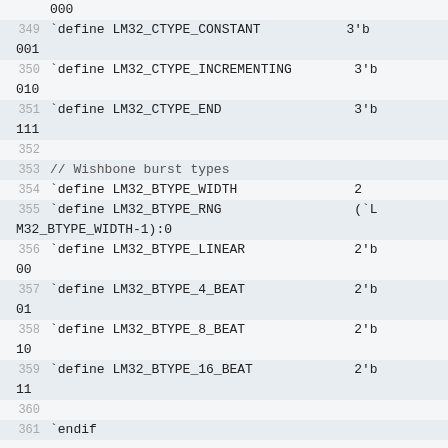000
349 `define LM32_CTYPE_CONSTANT    3'b 001
350 `define LM32_CTYPE_INCREMENTING    3'b 010
351 `define LM32_CTYPE_END    3'b 111
352
353 // Wishbone burst types
354 `define LM32_BTYPE_WIDTH    2
355 `define LM32_BTYPE_RNG    (`LM32_BTYPE_WIDTH-1):0
356 `define LM32_BTYPE_LINEAR    2'b 00
357 `define LM32_BTYPE_4_BEAT    2'b 01
358 `define LM32_BTYPE_8_BEAT    2'b 10
359 `define LM32_BTYPE_16_BEAT    2'b 11
360
361 `endif